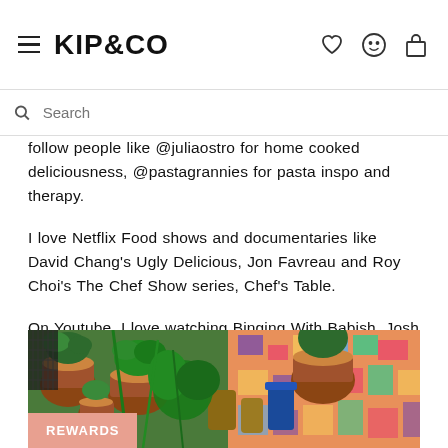KIP&CO (navigation bar with hamburger menu, brand logo, and icons for wishlist, account, and cart)
follow people like @juliaostro for home cooked deliciousness, @pastagrannies for pasta inspo and therapy.
I love Netflix Food shows and documentaries like David Chang's Ugly Delicious, Jon Favreau and Roy Choi's The Chef Show series, Chef's Table.
On Youtube, I love watching Binging With Babish, Josh Weismann, Sohla El-Waylly as well as 90's and naughties throwbacks of Gordon Ramsay and Nigella Lawson.
[Figure (photo): A photo of potted herb plants and terracotta pots on a colorful patterned surface, with green plants and various small wooden/ceramic containers.]
REWARDS